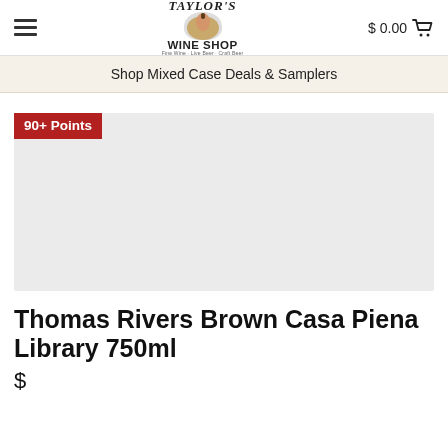Taylor's Wine Shop — $0.00 cart
Shop Mixed Case Deals & Samplers
[Figure (photo): Product image placeholder area with '90+ Points' red badge overlay. Light gray background rectangle representing product image.]
Thomas Rivers Brown Casa Piena Library 750ml
$154.00